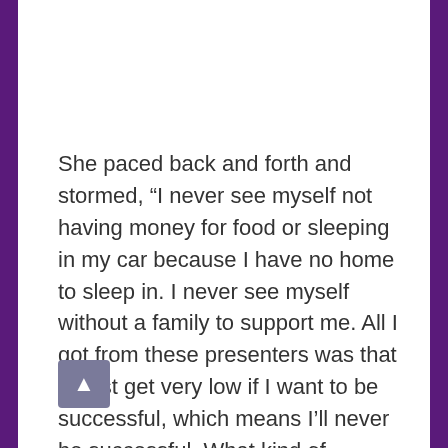She paced back and forth and stormed, “I never see myself not having money for food or sleeping in my car because I have no home to sleep in. I never see myself without a family to support me. All I got from these presenters was that I must get very low if I want to be successful, which means I’ll never be successful. What kind of motivation technique is this?”